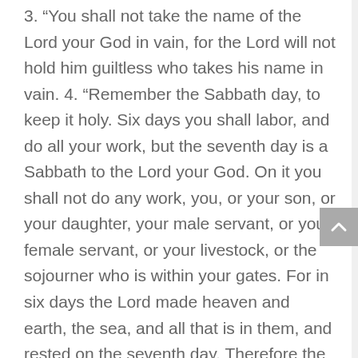3. “You shall not take the name of the Lord your God in vain, for the Lord will not hold him guiltless who takes his name in vain. 4. “Remember the Sabbath day, to keep it holy. Six days you shall labor, and do all your work, but the seventh day is a Sabbath to the Lord your God. On it you shall not do any work, you, or your son, or your daughter, your male servant, or your female servant, or your livestock, or the sojourner who is within your gates. For in six days the Lord made heaven and earth, the sea, and all that is in them, and rested on the seventh day. Therefore the Lord blessed the Sabbath day and made it holy. 5. “Honor your father and your mother, that your days may be long in the land that the Lord your God is giving you.